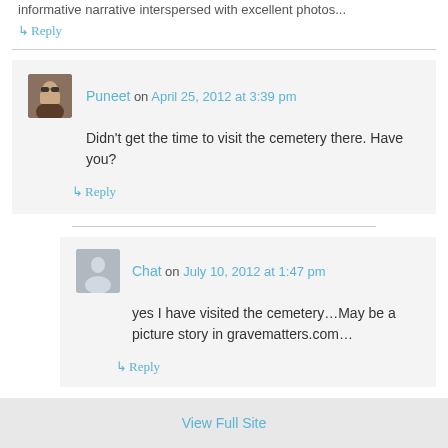informative narrative interspersed with excellent photos...
↳ Reply
Puneet on April 25, 2012 at 3:39 pm
Didn't get the time to visit the cemetery there. Have you?
↳ Reply
Chat on July 10, 2012 at 1:47 pm
yes I have visited the cemetery…May be a picture story in gravematters.com…
↳ Reply
View Full Site